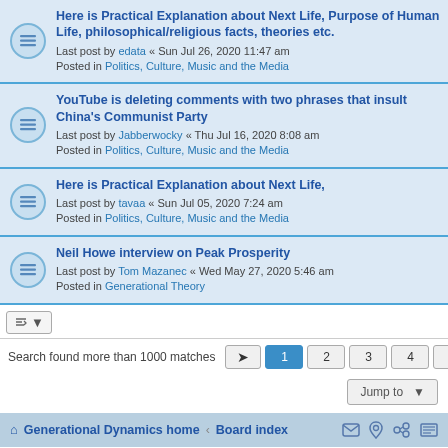Here is Practical Explanation about Next Life, Purpose of Human Life, philosophical/religious facts, theories etc.
Last post by edata « Sun Jul 26, 2020 11:47 am
Posted in Politics, Culture, Music and the Media
YouTube is deleting comments with two phrases that insult China's Communist Party
Last post by Jabberwocky « Thu Jul 16, 2020 8:08 am
Posted in Politics, Culture, Music and the Media
Here is Practical Explanation about Next Life,
Last post by tavaa « Sun Jul 05, 2020 7:24 am
Posted in Politics, Culture, Music and the Media
Neil Howe interview on Peak Prosperity
Last post by Tom Mazanec « Wed May 27, 2020 5:46 am
Posted in Generational Theory
Search found more than 1000 matches  1 2 3 4 5 ... 40
Generational Dynamics home · Board index
Powered by phpBB® Forum Software © phpBB Limited
Privacy | Terms